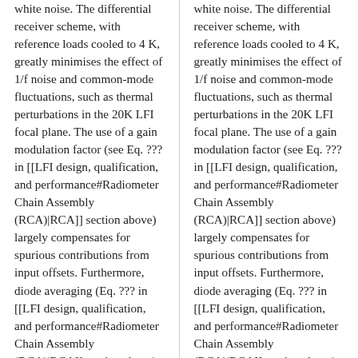white noise. The differential receiver scheme, with reference loads cooled to 4 K, greatly minimises the effect of 1/f noise and common-mode fluctuations, such as thermal perturbations in the 20K LFI focal plane. The use of a gain modulation factor (see Eq. ??? in [[LFI design, qualification, and performance#Radiometer Chain Assembly (RCA)|RCA]] section above) largely compensates for spurious contributions from input offsets. Furthermore, diode averaging (Eq. ??? in [[LFI design, qualification, and performance#Radiometer Chain Assembly (RCA)|RCA]] section above) allows us to cancel second-order correlations such
white noise. The differential receiver scheme, with reference loads cooled to 4 K, greatly minimises the effect of 1/f noise and common-mode fluctuations, such as thermal perturbations in the 20K LFI focal plane. The use of a gain modulation factor (see Eq. ??? in [[LFI design, qualification, and performance#Radiometer Chain Assembly (RCA)|RCA]] section above) largely compensates for spurious contributions from input offsets. Furthermore, diode averaging (Eq. ??? in [[LFI design, qualification, and performance#Radiometer Chain Assembly (RCA)|RCA]] section above) allows us to cancel second-order correlations such